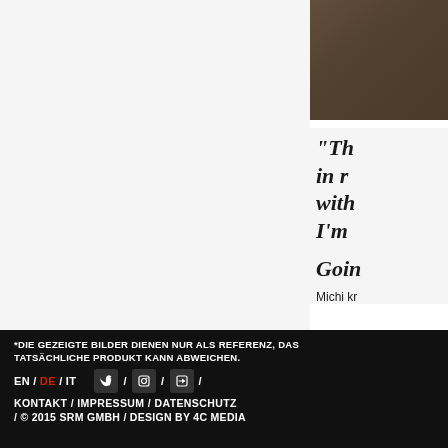[Figure (photo): Dark brown/olive textured background image in upper right corner, partially visible]
"The in ro with I'm
Goin
Michi kr
*DIE GEZEIGTE BILDER DIENEN NUR ALS REFERENZ, DAS TATSÄCHLICHE PRODUKT KANN ABWEICHEN.
EN / DE / IT  [Twitter] / [Facebook] / [Instagram] /  KONTAKT / IMPRESSUM / DATENSCHUTZ / © 2015 SRM GMBH / DESIGN BY 4C MEDIA